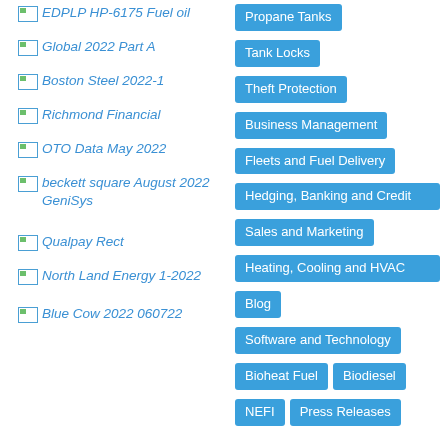EDPLP HP-6175 Fuel oil
Global 2022 Part A
Boston Steel 2022-1
Richmond Financial
OTO Data May 2022
beckett square August 2022 GeniSys
Qualpay Rect
North Land Energy 1-2022
Blue Cow 2022 060722
Propane Tanks
Tank Locks
Theft Protection
Business Management
Fleets and Fuel Delivery
Hedging, Banking and Credit
Sales and Marketing
Heating, Cooling and HVAC
Blog
Software and Technology
Bioheat Fuel
Biodiesel
NEFI
Press Releases